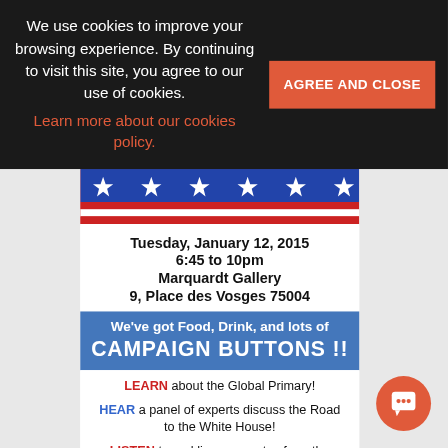We use cookies to improve your browsing experience. By continuing to visit this site, you agree to our use of cookies. Learn more about our cookies policy.
AGREE AND CLOSE
[Figure (illustration): American flag stars and stripes banner header]
Tuesday, January 12, 2015
6:45 to 10pm
Marquardt Gallery
9, Place des Vosges 75004
We've got Food, Drink, and lots of CAMPAIGN BUTTONS !!
LEARN about the Global Primary!
HEAR a panel of experts discuss the Road to the White House!
LISTEN to real live surrogates from the campaigns debate each other!
ENJOY the cool jazz stylings of our band!
GASP in awe and wonder at our many SPECIAL SURPISES !!!
JOIN US AT THIS AWESOME PARTY!!
We think a 10 euro donation is not too much to ask for this amazing soirée, but if you bring two